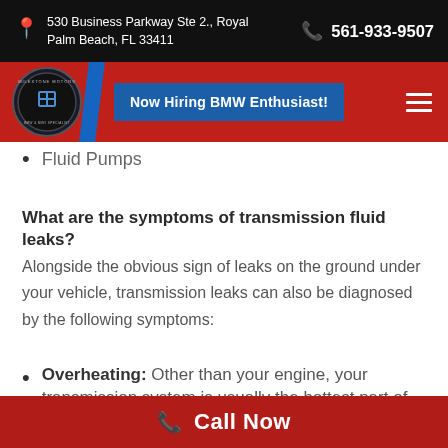530 Business Parkway Ste 2., Royal Palm Beach, FL 33411 | 561-933-9507
[Figure (logo): Milestone Motors logo on red navigation bar with blue accent, hamburger menu, and 'Now Hiring BMW Enthusiast!' button]
Fluid Pumps
What are the symptoms of transmission fluid leaks?
Alongside the obvious sign of leaks on the ground under your vehicle, transmission leaks can also be diagnosed by the following symptoms:
Overheating: Other than your engine, your transmission system is usually the hottest part of your vehicle
Call Now